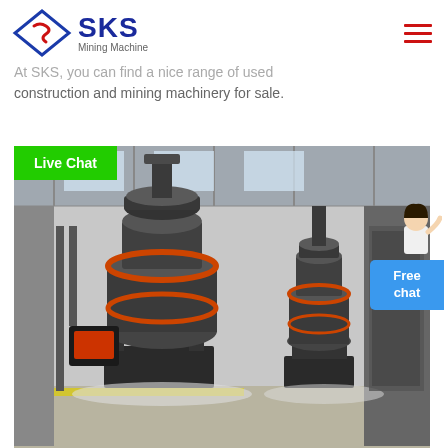SKS Mining Machine
construction and mining machinery for sale.
[Figure (screenshot): Green Live Chat button above a photo of large industrial grinding/milling machines inside a factory warehouse, with a woman avatar and blue Free chat widget on the right side.]
TuffTrak
Get a Quote
WhatsApp